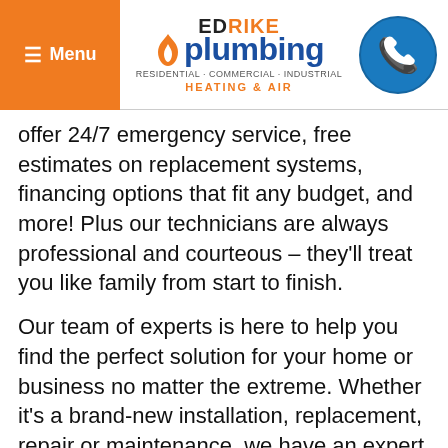Menu | ED RIKE plumbing RESIDENTIAL-COMMERCIAL-INDUSTRIAL HEATING & AIR | [phone icon]
offer 24/7 emergency service, free estimates on replacement systems, financing options that fit any budget, and more! Plus our technicians are always professional and courteous – they'll treat you like family from start to finish.
Our team of experts is here to help you find the perfect solution for your home or business no matter the extreme. Whether it's a brand-new installation, replacement, repair or maintenance, we have an expert who is qualified to help! You won't be